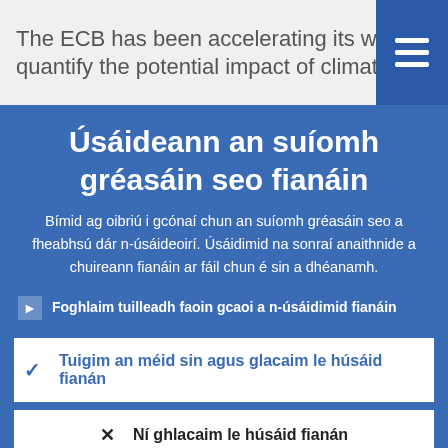The ECB has been accelerating its work to quantify the potential impact of climate
Úsáideann an suíomh gréasáin seo fianáin
Bímid ag oibriú i gcónaí chun an suíomh gréasáin seo a fheabhsú dár n-úsáideoirí. Úsáidimid na sonraí anaithnide a chuireann fianáin ar fáil chun é sin a dhéanamh.
Foghlaim tuilleadh faoin gcaoi a n-úsáidimid fianáin
Tuigim an méid sin agus glacaim le húsáid fianán
Ní ghlacaim le húsáid fianán